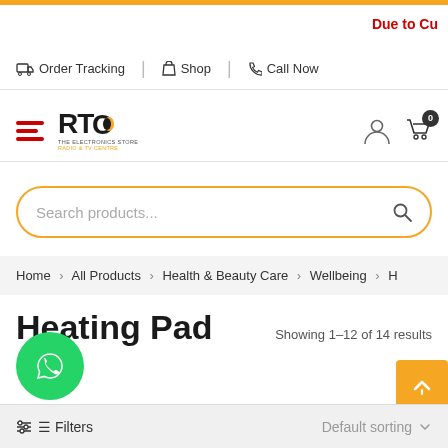Due to Cu
Order Tracking | Shop | Call Now
[Figure (logo): RTC The Electronics Store - Radio & TV Centre logo with hamburger menu, user icon, and cart icon with badge showing 0]
Search products...
Home > All Products > Health & Beauty Care > Wellbeing > H
Heating Pad
Showing 1–12 of 14 results
[Figure (logo): WhatsApp floating action button (green circle with phone icon)]
[Figure (other): Scroll to top button (orange rounded square with up chevron)]
Filters
Default sorting